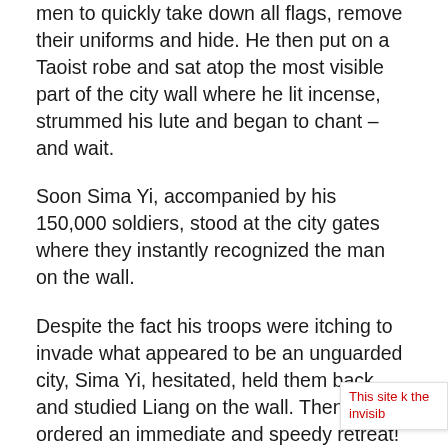men to quickly take down all flags, remove their uniforms and hide. He then put on a Taoist robe and sat atop the most visible part of the city wall where he lit incense, strummed his lute and began to chant – and wait.
Soon Sima Yi, accompanied by his 150,000 soldiers, stood at the city gates where they instantly recognized the man on the wall.
Despite the fact his troops were itching to invade what appeared to be an unguarded city, Sima Yi, hesitated, held them back, and studied Liang on the wall. Then … he ordered an immediate and speedy retreat!
At the mercy of his enemy, facing certain death, General Liang had only one weapon at his disposal; his name and reputation.
This site k the invisib